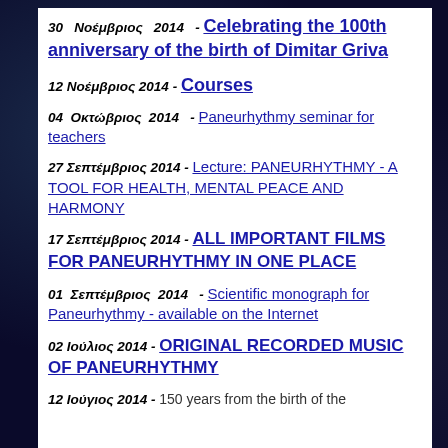30 Νοέμβριος 2014 - Celebrating the 100th anniversary of the birth of Dimitar Griva
12 Νοέμβριος 2014 - Courses
04 Οκτώβριος 2014 - Paneurhythmy seminar for teachers
27 Σεπτέμβριος 2014 - Lecture: PANEURHYTHMY - A TOOL FOR HEALTH, MENTAL PEACE AND HARMONY
17 Σεπτέμβριος 2014 - ALL IMPORTANT FILMS FOR PANEURHYTHMY IN ONE PLACE
01 Σεπτέμβριος 2014 - Scientific monograph for Paneurhythmy - available on the Internet
02 Ιούλιος 2014 - ORIGINAL RECORDED MUSIC OF PANEURHYTHMY
12 Ιούγιος 2014 - 150 years from the birth of the